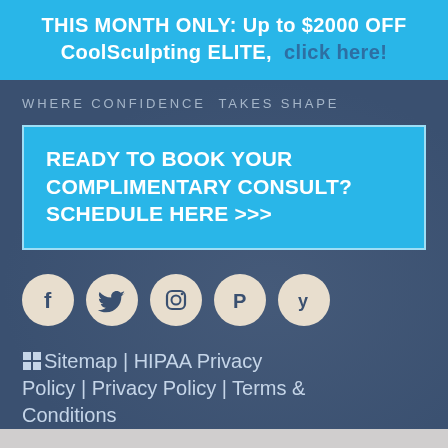THIS MONTH ONLY: Up to $2000 OFF CoolSculpting ELITE, click here!
WHERE CONFIDENCE TAKES SHAPE
READY TO BOOK YOUR COMPLIMENTARY CONSULT? SCHEDULE HERE >>>
[Figure (infographic): Five social media icons in circular buttons: Facebook (f), Twitter (bird), Instagram (camera), Pinterest (P), Yelp (y)]
Sitemap | HIPAA Privacy Policy | Privacy Policy | Terms & Conditions